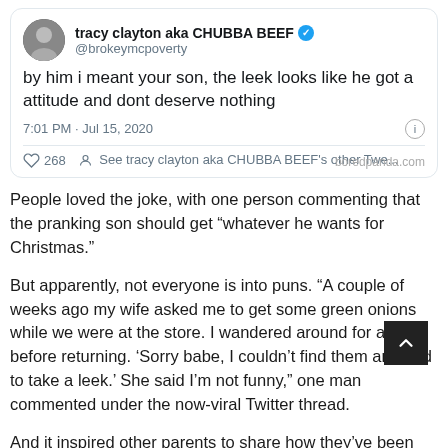[Figure (screenshot): Tweet from tracy clayton aka CHUBBA BEEF (@brokeymcpoverty) saying: 'by him i meant your son, the leek looks like he got a attitude and dont deserve nothing' posted at 7:01 PM · Jul 15, 2020. Shows 268 likes and a link to see other tweets. Watermark: boredpanda.com]
People loved the joke, with one person commenting that the pranking son should get “whatever he wants for Christmas.”
But apparently, not everyone is into puns. “A couple of weeks ago my wife asked me to get some green onions while we were at the store. I wandered around for a bit before returning. ‘Sorry babe, I couldn’t find them and had to take a leek.’ She said I’m not funny,” one man commented under the now-viral Twitter thread.
And it inspired other parents to share how they’ve been pranked to